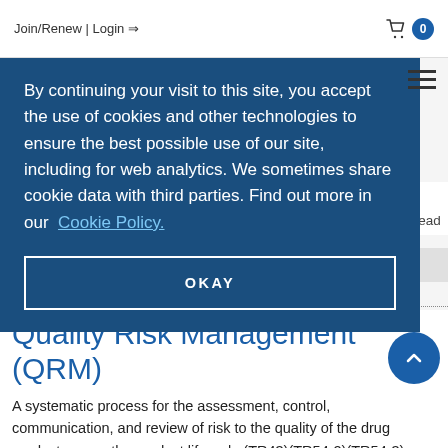Join/Renew | Login  🛒 0
By continuing your visit to this site, you accept the use of cookies and other technologies to ensure the best possible use of our site, including for web analytics. We sometimes share cookie data with third parties. Find out more in our Cookie Policy.
OKAY
Quality Risk Management (QRM)
A systematic process for the assessment, control, communication, and review of risk to the quality of the drug product across the product lifecycle (TR43)(TR54-2)(TR54-3)(TR57)(TR67)(TR68)